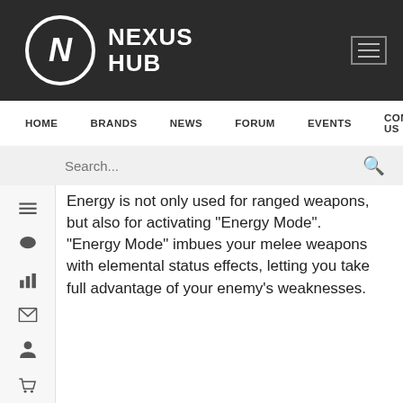[Figure (logo): Nexus Hub logo with circular N icon and text NEXUS HUB on dark background, with hamburger menu icon top right]
HOME   BRANDS   NEWS   FORUM   EVENTS   CONTACT US
Search...
Energy is not only used for ranged weapons, but also for activating "Energy Mode". "Energy Mode" imbues your melee weapons with elemental status effects, letting you take full advantage of your enemy's weaknesses.